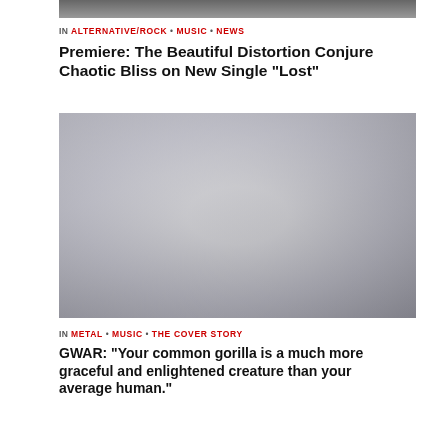[Figure (photo): Partial top image cropped at top of page]
In ALTERNATIVE/ROCK • MUSIC • NEWS
Premiere: The Beautiful Distortion Conjure Chaotic Bliss on New Single “Lost”
[Figure (photo): Faded photo of a crowd/band in costumes, predominantly light blue and grey tones]
In METAL • MUSIC • THE COVER STORY
GWAR: “Your common gorilla is a much more graceful and enlightened creature than your average human.”